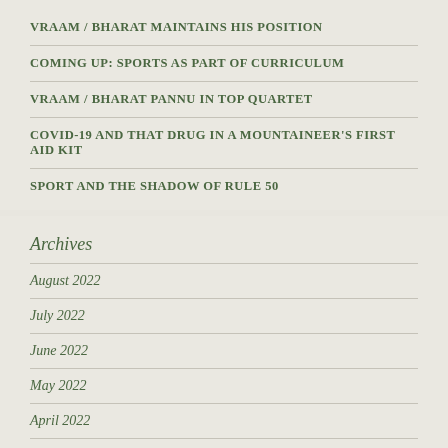VRAAM / BHARAT MAINTAINS HIS POSITION
COMING UP: SPORTS AS PART OF CURRICULUM
VRAAM / BHARAT PANNU IN TOP QUARTET
COVID-19 AND THAT DRUG IN A MOUNTAINEER'S FIRST AID KIT
SPORT AND THE SHADOW OF RULE 50
Archives
August 2022
July 2022
June 2022
May 2022
April 2022
March 2022
February 2022